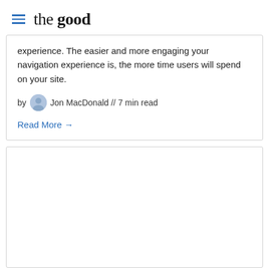the good
experience. The easier and more engaging your navigation experience is, the more time users will spend on your site.
by Jon MacDonald // 7 min read
Read More →
[Figure (other): Empty card/article preview box]